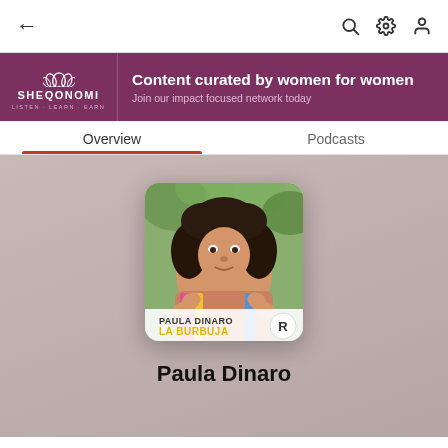← (back) | (search) (settings) (profile)
[Figure (screenshot): Sheqonomi banner: purple background with lotus logo on the left reading SHEQONOMI / LISTEN · LEARN · EARN, and right side text: Content curated by women for women / Join our impact focused network today]
Overview
Podcasts
[Figure (photo): Podcast cover art for 'La Burbuja' by Paula Dinaro — woman with curly dark hair pointing at camera with both hands, wearing colorful accessories. Text overlay at bottom: PAULA DINARO / LA BURBUJA, with a podcast network logo (R in a circle) at bottom right.]
Paula Dinaro